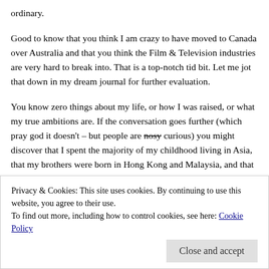ordinary.
Good to know that you think I am crazy to have moved to Canada over Australia and that you think the Film & Television industries are very hard to break into. That is a top-notch tid bit. Let me jot that down in my dream journal for further evaluation.
You know zero things about my life, or how I was raised, or what my true ambitions are. If the conversation goes further (which pray god it doesn't – but people are nosy curious) you might discover that I spent the majority of my childhood living in Asia, that my brothers were born in Hong Kong and Malaysia, and that my Mother now lives in Thailand and that actually over the last year, that tough to crack industry has paid
Privacy & Cookies: This site uses cookies. By continuing to use this website, you agree to their use.
To find out more, including how to control cookies, see here: Cookie Policy
Close and accept